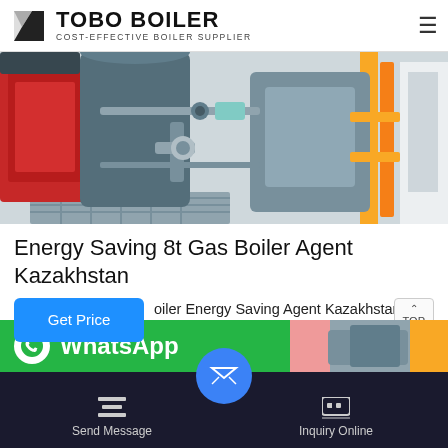TOBO BOILER — COST-EFFECTIVE BOILER SUPPLIER
[Figure (photo): Industrial gas boiler equipment with red burner unit, pipes, valves, and yellow support frame in a facility]
Energy Saving 8t Gas Boiler Agent Kazakhstan
oiler Energy Saving Agent Kazakhstan. 10 ton electric boiler system supplier. 650 hp energy saving electric boiler system rental zg . Liming·Rental Boilers Energy Products Rental Boilers #390 Kewanee H3S-100-GO 100 HP 20...
[Figure (screenshot): WhatsApp contact button strip (green) and secondary boiler image]
Send Message | Inquiry Online